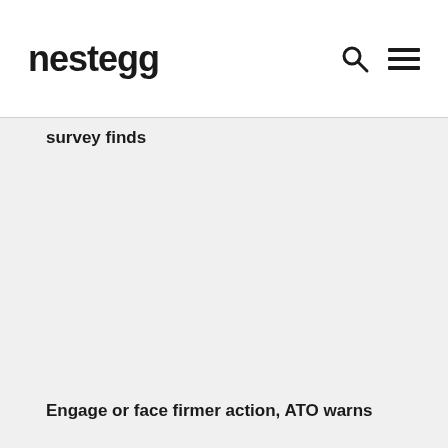nestegg
survey finds
Engage or face firmer action, ATO warns